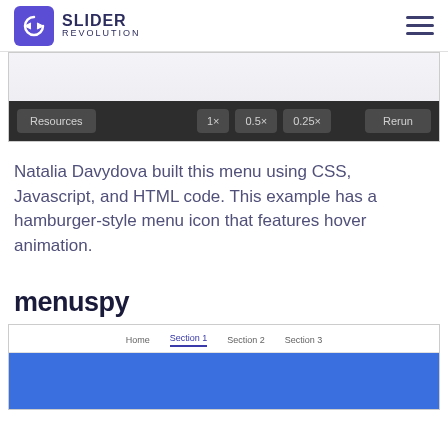SLIDER REVOLUTION
[Figure (screenshot): CodePen embed preview area with toolbar showing Resources, 1×, 0.5×, 0.25×, and Rerun buttons on a dark background]
Natalia Davydova built this menu using CSS, Javascript, and HTML code. This example has a hamburger-style menu icon that features hover animation.
menuspy
[Figure (screenshot): menuspy demo preview showing a navigation bar with Home, Section 1, Section 2, Section 3 links and a blue content area below]